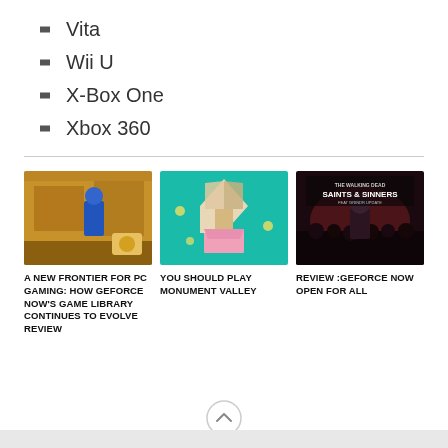Vita
Wii U
X-Box One
Xbox 360
[Figure (photo): Screenshot of a PC game, possibly GeForce Now gameplay]
A NEW FRONTIER FOR PC GAMING: HOW GEFORCE NOW'S GAME LIBRARY CONTINUES TO EVOLVE REVIEW
[Figure (photo): Monument Valley game screenshot with isometric geometric tower on teal background]
YOU SHOULD PLAY MONUMENT VALLEY
[Figure (photo): The Walking Dead Saints & Sinners game cover art]
REVIEW :GEFORCE NOW OPEN FOR ALL